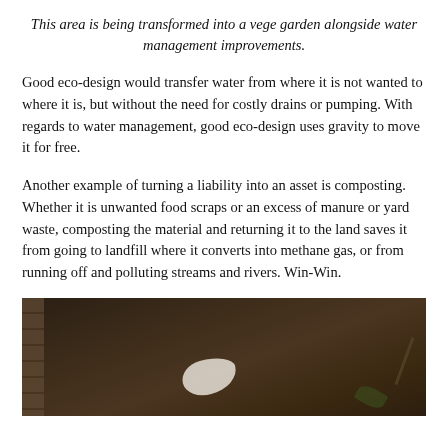This area is being transformed into a vege garden alongside water management improvements.
Good eco-design would transfer water from where it is not wanted to where it is, but without the need for costly drains or pumping. With regards to water management, good eco-design uses gravity to move it for free.
Another example of turning a liability into an asset is composting. Whether it is unwanted food scraps or an excess of manure or yard waste, composting the material and returning it to the land saves it from going to landfill where it converts into methane gas, or from running off and polluting streams and rivers. Win-Win.
[Figure (photo): A photograph of a composting area showing dark soil/compost material with a white object (food scraps or bag) visible, wooden fence on the left, and some plant material.]